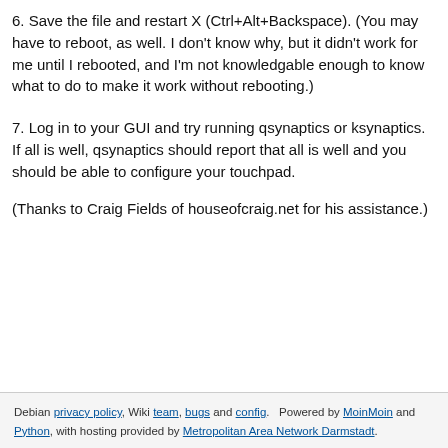6. Save the file and restart X (Ctrl+Alt+Backspace). (You may have to reboot, as well. I don't know why, but it didn't work for me until I rebooted, and I'm not knowledgable enough to know what to do to make it work without rebooting.)
7. Log in to your GUI and try running qsynaptics or ksynaptics. If all is well, qsynaptics should report that all is well and you should be able to configure your touchpad.
(Thanks to Craig Fields of houseofcraig.net for his assistance.)
Debian privacy policy, Wiki team, bugs and config.   Powered by MoinMoin and Python, with hosting provided by Metropolitan Area Network Darmstadt.